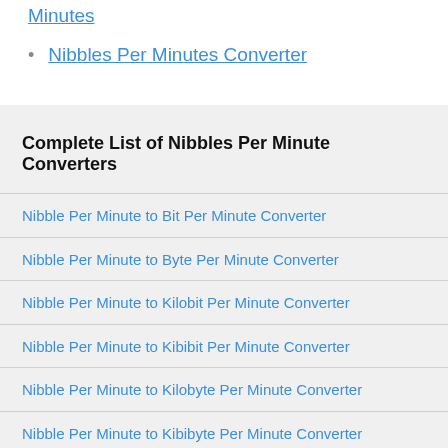Minutes
Nibbles Per Minutes Converter
Complete List of Nibbles Per Minute Converters
Nibble Per Minute to Bit Per Minute Converter
Nibble Per Minute to Byte Per Minute Converter
Nibble Per Minute to Kilobit Per Minute Converter
Nibble Per Minute to Kibibit Per Minute Converter
Nibble Per Minute to Kilobyte Per Minute Converter
Nibble Per Minute to Kibibyte Per Minute Converter
Nibble Per Minute to Megabit Per Minute Converter
Nibble Per Minute to Mebibit Per Minute Converter